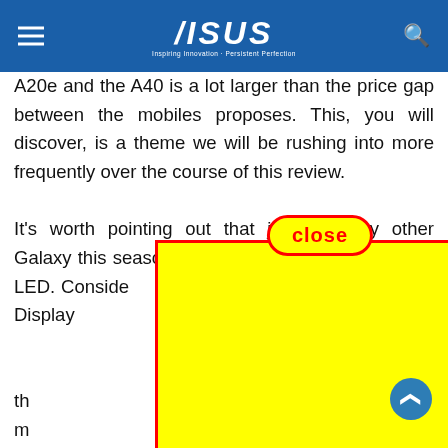ASUS — Inspiring Innovation · Persistent Perfection
A20e and the A40 is a lot larger than the price gap between the mobiles proposes. This, you will discover, is a theme we will be rushing into more frequently over the course of this review.
[Figure (other): Close button (red-outlined yellow pill shape with red bold 'close' text) overlaying article text]
[Figure (other): Yellow rectangle advertisement overlay with red border covering most of the article text]
It's worth pointing out that just like any other Galaxy this season, [obscured] on LED. Consider [obscured] ways On Display [obscured] hat you missed [obscured] This can only be [obscured] e, which makes th [obscured] missing calls or m [obscured]
From th [obscured] ve on to the dev [obscured] AM and